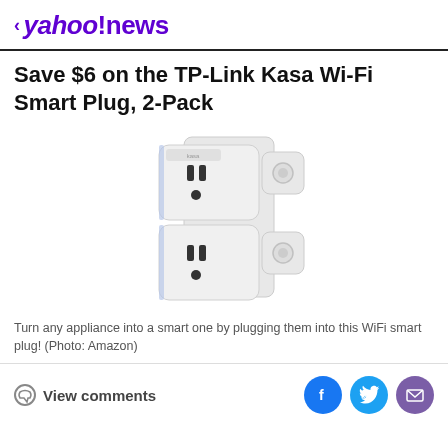< yahoo!news
Save $6 on the TP-Link Kasa Wi-Fi Smart Plug, 2-Pack
[Figure (photo): Two TP-Link Kasa Wi-Fi Smart Plugs stacked in a wall outlet, white colored devices with power buttons on the side and electrical socket faces visible]
Turn any appliance into a smart one by plugging them into this WiFi smart plug! (Photo: Amazon)
View comments